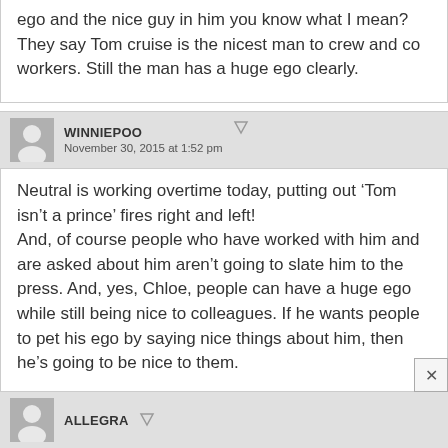ego and the nice guy in him you know what I mean?
They say Tom cruise is the nicest man to crew and co workers. Still the man has a huge ego clearly.
WINNIEPOO
November 30, 2015 at 1:52 pm
Neutral is working overtime today, putting out ‘Tom isn’t a prince’ fires right and left!
And, of course people who have worked with him and are asked about him aren’t going to slate him to the press. And, yes, Chloe, people can have a huge ego while still being nice to colleagues. If he wants people to pet his ego by saying nice things about him, then he’s going to be nice to them.
ALLEGRA